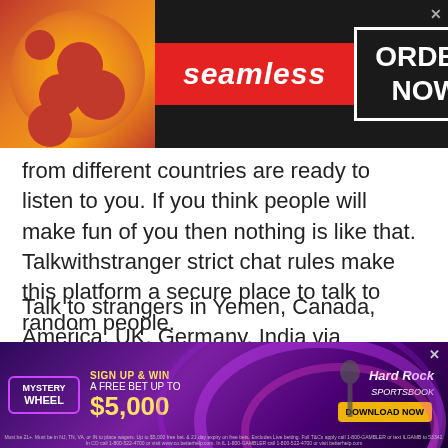[Figure (screenshot): Seamless food delivery ad banner with pizza image on left, red 'seamless' logo in center, and 'ORDER NOW' button on right, on dark background]
from different countries are ready to listen to you. If you think people will make fun of you then nothing is like that. Talkwithstranger strict chat rules make this platform a secure place to talk to random people.
Talk to strangers in Yemen, Canada, America, UK, Germany, India via community chat helps you learn new things that you have never heard before. Well, you can join the ongoing discussion or join the active conversation. However, if you are interested in
[Figure (screenshot): Hard Rock Sportsbook advertisement with purple background, Mystery Wheel branding, 'SIGN UP & WIN A FREE BET UP TO $5,000' offer, and DOWNLOAD NOW button]